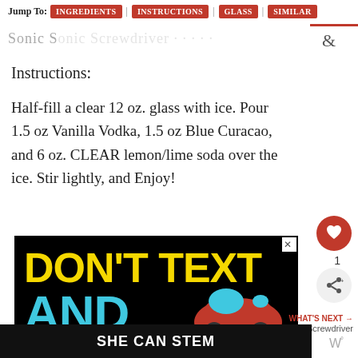Jump To: INGREDIENTS | INSTRUCTIONS | GLASS | SIMILAR
Sonic S... &
Instructions:
Half-fill a clear 12 oz. glass with ice. Pour 1.5 oz Vanilla Vodka, 1.5 oz Blue Curacao, and 6 oz. CLEAR lemon/lime soda over the ice. Stir lightly, and Enjoy!
[Figure (screenshot): Advertisement showing 'DON'T TEXT AND' text with a car image and 'SHE CAN STEM' in white text on dark background]